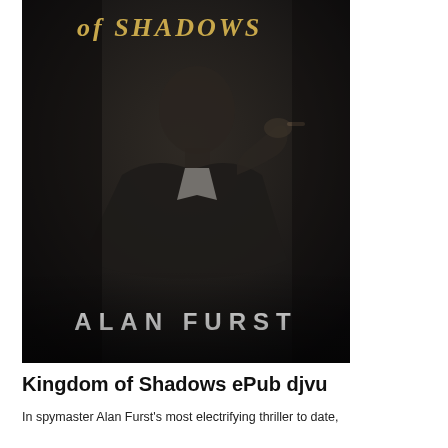[Figure (illustration): Book cover of 'Kingdom of Shadows' by Alan Furst. Dark background with a shadowy figure of a man in a suit, holding something near his face. The title text '...of SHADOWS' appears at the top in gold serif letters, and 'ALAN FURST' appears at the bottom in large white bold letters.]
Kingdom of Shadows ePub djvu
In spymaster Alan Furst's most electrifying thriller to date, Hungarian emigrant Nicholas Morath f... shadow organization...